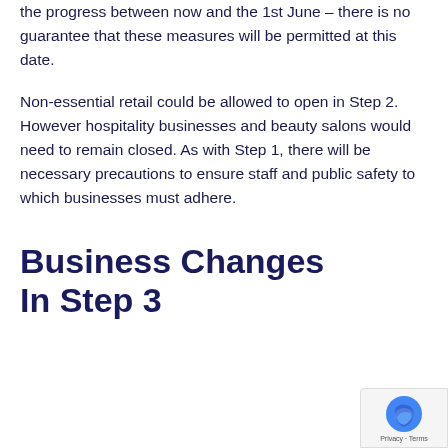the progress between now and the 1st June – there is no guarantee that these measures will be permitted at this date.
Non-essential retail could be allowed to open in Step 2. However hospitality businesses and beauty salons would need to remain closed. As with Step 1, there will be necessary precautions to ensure staff and public safety to which businesses must adhere.
Business Changes In Step 3